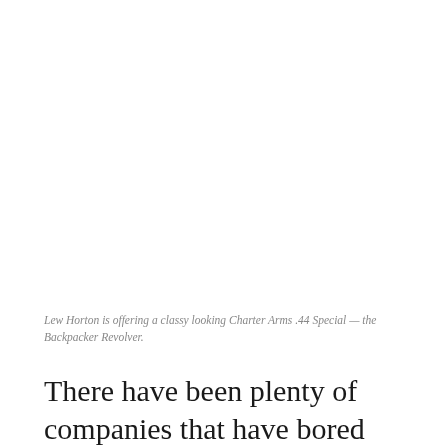Lew Horton is offering a classy looking Charter Arms .44 Special — the Backpacker Revolver.
There have been plenty of companies that have bored revolvers for the venerable .44